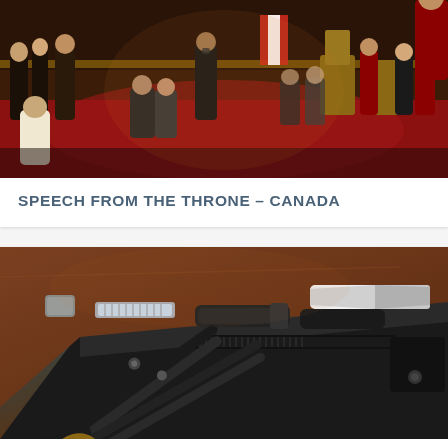[Figure (photo): Photo of the Speech from the Throne ceremony in Canada's Senate chamber. Several people are visible in formal attire, with red carpeting, Canadian flags, and ornate golden furnishings. Some attendees are wearing masks.]
SPEECH FROM THE THRONE – CANADA
[Figure (photo): Close-up photo of various barber tools laid out on a dark wooden surface, including scissors, combs, clippers, and a straight razor with a white handle.]
12 QUESTIONS TO TOP TIER